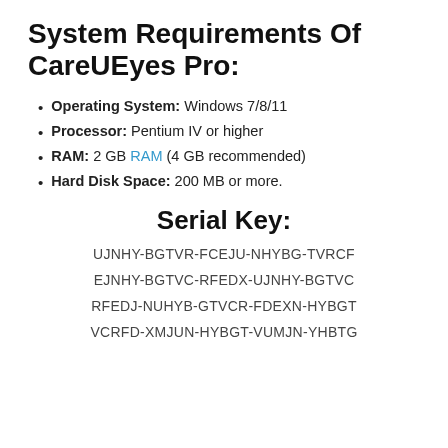System Requirements Of CareUEyes Pro:
Operating System: Windows 7/8/11
Processor: Pentium IV or higher
RAM: 2 GB RAM (4 GB recommended)
Hard Disk Space: 200 MB or more.
Serial Key:
UJNHY-BGTVR-FCEJU-NHYBG-TVRCF
EJNHY-BGTVC-RFEDX-UJNHY-BGTVC
RFEDJ-NUHYB-GTVCR-FDEXN-HYBGT
VCRFD-XMJUN-HYBGT-VUMJN-YHBTG